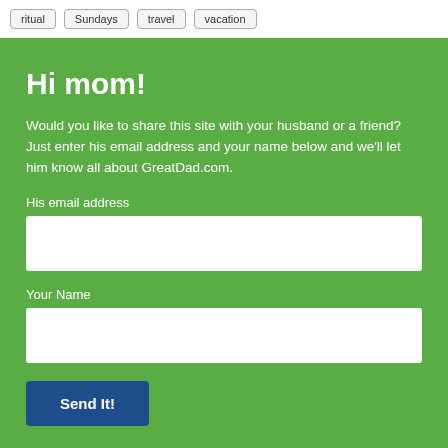ritual  Sundays  travel  vacation
Hi mom!
Would you like to share this site with your husband or a friend? Just enter his email address and your name below and we'll let him know all about GreatDad.com.
His email address
Your Name
Send It!